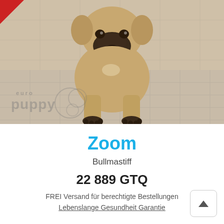[Figure (photo): A large fawn Bullmastiff dog sitting on a tiled outdoor surface, facing the camera. The dog has a dark muzzle and is a young adult. A watermark 'euro puppy' with circles is visible in the lower left. A red corner triangle badge is in the upper left.]
Zoom
Bullmastiff
22 889 GTQ
FREI Versand für berechtigte Bestellungen
Lebenslange Gesundheit Garantie